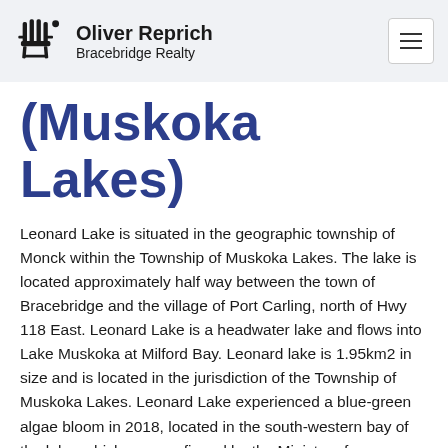Oliver Reprich Bracebridge Realty
(Muskoka Lakes)
Leonard Lake is situated in the geographic township of Monck within the Township of Muskoka Lakes. The lake is located approximately half way between the town of Bracebridge and the village of Port Carling, north of Hwy 118 East. Leonard Lake is a headwater lake and flows into Lake Muskoka at Milford Bay. Leonard lake is 1.95km2 in size and is located in the jurisdiction of the Township of Muskoka Lakes. Leonard Lake experienced a blue-green algae bloom in 2018, located in the south-western bay of the lake, which was confirmed by the Ministry of Environment, Conservation and Parks (MECP) on September 28, 2018. This led to